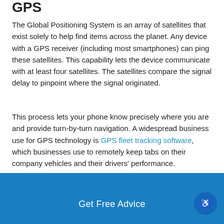GPS
The Global Positioning System is an array of satellites that exist solely to help find items across the planet. Any device with a GPS receiver (including most smartphones) can ping these satellites. This capability lets the device communicate with at least four satellites. The satellites compare the signal delay to pinpoint where the signal originated.
This process lets your phone know precisely where you are and provide turn-by-turn navigation. A widespread business use for GPS technology is GPS fleet tracking software, which businesses use to remotely keep tabs on their company vehicles and their drivers' performance.
Get Free Advice